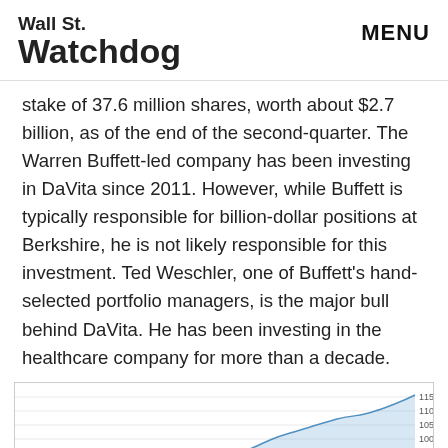Wall St. Watchdog | MENU
stake of 37.6 million shares, worth about $2.7 billion, as of the end of the second-quarter. The Warren Buffett-led company has been investing in DaVita since 2011. However, while Buffett is typically responsible for billion-dollar positions at Berkshire, he is not likely responsible for this investment. Ted Weschler, one of Buffett's hand-selected portfolio managers, is the major bull behind DaVita. He has been investing in the healthcare company for more than a decade.
[Figure (continuous-plot): Line chart showing VHT stock price over time, labeled Sep 2, 2014: VHT 117.17. The line rises from approximately 87 to 115+, with y-axis labels at 87, 92, 95, 100, 105, 110, 115.]